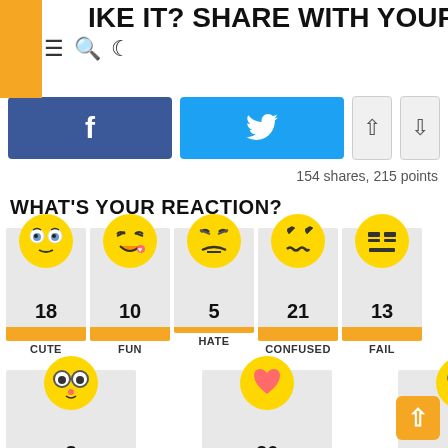IKE IT? SHARE WITH YOUR FRIENDS!
[Figure (infographic): Facebook share button (blue), Twitter share button (light blue), up and down vote arrows]
154 shares, 215 points
WHAT'S YOUR REACTION?
[Figure (infographic): Reaction emoji cards row 1: CUTE 18, FUN 10, HATE 5, CONFUSED 21, FAIL 13]
[Figure (infographic): Reaction emoji cards row 2: (glasses emoji) 8, (heart emoji) 26, (surprised emoji) 21]